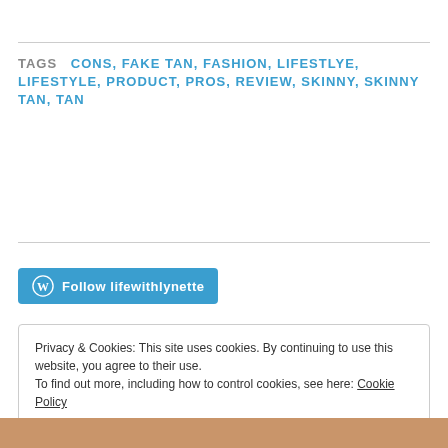TAGS  CONS, FAKE TAN, FASHION, LIFESTLYE, LIFESTYLE, PRODUCT, PROS, REVIEW, SKINNY, SKINNY TAN, TAN
[Figure (other): WordPress Follow button with W logo and text 'Follow lifewithlynette']
Privacy & Cookies: This site uses cookies. By continuing to use this website, you agree to their use.
To find out more, including how to control cookies, see here: Cookie Policy
Close and accept
[Figure (photo): Partial photo strip at the bottom of the page, appears to show a blurred warm-toned image]